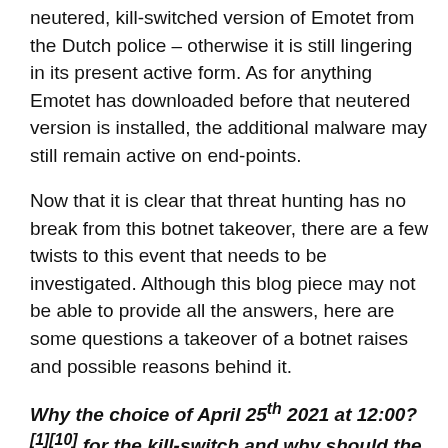neutered, kill-switched version of Emotet from the Dutch police – otherwise it is still lingering in its present active form. As for anything Emotet has downloaded before that neutered version is installed, the additional malware may still remain active on end-points.
Now that it is clear that threat hunting has no break from this botnet takeover, there are a few twists to this event that needs to be investigated. Although this blog piece may not be able to provide all the answers, here are some questions a takeover of a botnet raises and possible reasons behind it.
Why the choice of April 25th 2021 at 12:00?[1][10] for the kill-switch and why should the sector wait so long?[11][12].
The idea behind such a long wait is now that the